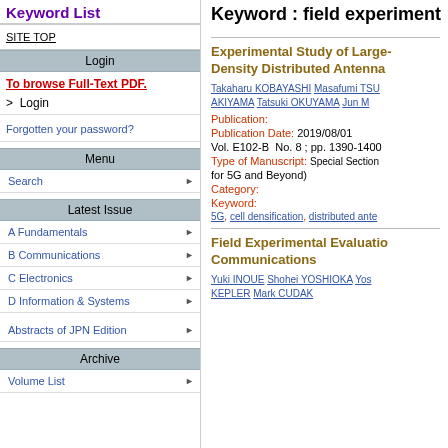Keyword List
SITE TOP
Login
To browse Full-Text PDF.
> Login
Forgotten your password?
Menu
Search
Latest Issue
A Fundamentals
B Communications
C Electronics
D Information & Systems
Abstracts of JPN Edition
Archive
Volume List
Keyword : field experiment
Experimental Study of Large-Density Distributed Antenna
Takaharu KOBAYASHI Masafumi TS... AKIYAMA Tatsuki OKUYAMA Jun M...
Publication:
Publication Date: 2019/08/01
Vol. E102-B  No. 8 ; pp. 1390-1400
Type of Manuscript:  Special Section... for 5G and Beyond)
Category:
Keyword:
5G, cell densification, distributed ante...
Field Experimental Evaluation... Communications
Yuki INOUE Shohei YOSHIOKA Yos... KEPLER Mark CUDAK